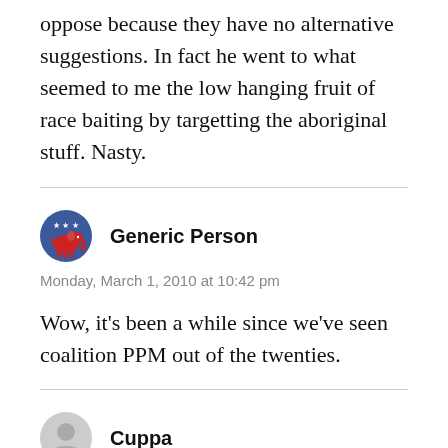oppose because they have no alternative suggestions. In fact he went to what seemed to me the low hanging fruit of race baiting by targetting the aboriginal stuff. Nasty.
Generic Person
Monday, March 1, 2010 at 10:42 pm
Wow, it’s been a while since we’ve seen coalition PPM out of the twenties.
Cuppa
Monday, March 1, 2010 at 10:42 pm
[L]+ “Newspoll has Tony Abbott and the